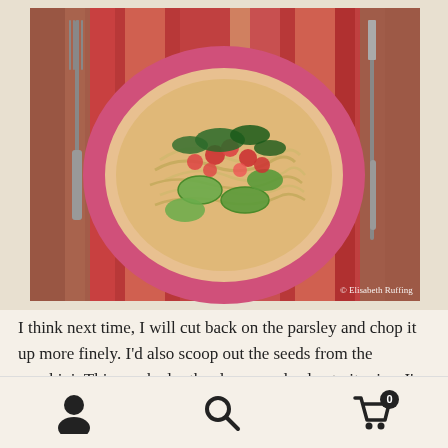[Figure (photo): Overhead photo of a plate of pasta with zucchini, tomatoes, and greens on a decorative pink/red plate, placed on a striped red placemat with fork on left and knife on right. Watermark reads '© Elisabeth Ruffing']
I think next time, I will cut back on the parsley and chop it up more finely. I'd also scoop out the seeds from the zucchini. This one had rather large seeds, due to its size. I've made fried zucchini slices before and not even noticed the seeds. So, I guess it depends on how long you wait to pick yours. Those Sleeper-sized ones though...I'd definitely
Navigation icons: user, search, cart (0)